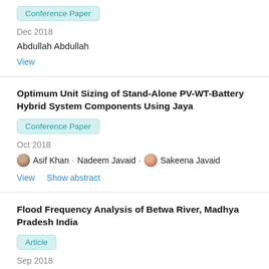Conference Paper
Dec 2018
Abdullah Abdullah
View
Optimum Unit Sizing of Stand-Alone PV-WT-Battery Hybrid System Components Using Jaya
Conference Paper
Oct 2018
Asif Khan · Nadeem Javaid · Sakeena Javaid
View    Show abstract
Flood Frequency Analysis of Betwa River, Madhya Pradesh India
Article
Sep 2018
H. K. Pandey · Shivam Dwivedi · Kamlesh Kumar
View    Show abstract